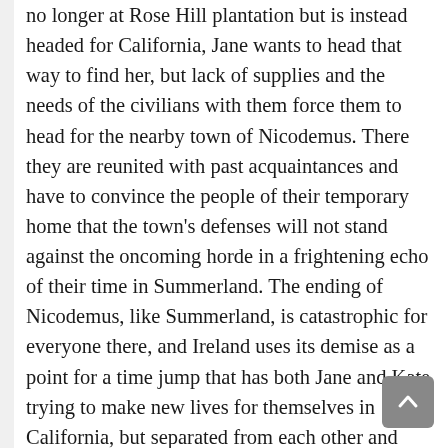no longer at Rose Hill plantation but is instead headed for California, Jane wants to head that way to find her, but lack of supplies and the needs of the civilians with them force them to head for the nearby town of Nicodemus. There they are reunited with past acquaintances and have to convince the people of their temporary home that the town's defenses will not stand against the oncoming horde in a frightening echo of their time in Summerland. The ending of Nicodemus, like Summerland, is catastrophic for everyone there, and Ireland uses its demise as a point for a time jump that has both Jane and Kate trying to make new lives for themselves in California, but separated from each other and facing terrible hardship and prejudice once again. Between proper Kate struggling to find a place for herself where she feels fulfilled and vengeance-obsessed Jane making a name for herself but being unable to rest, Ireland highlights a full range of experiences and difficult choices they f...